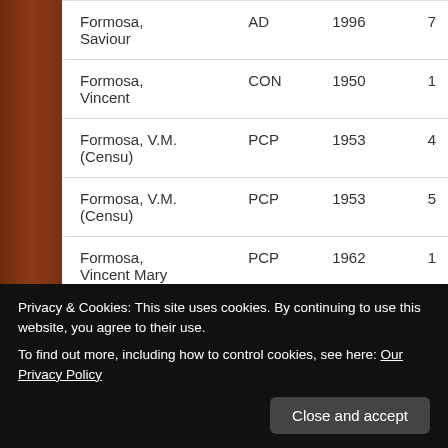| Name | Party | Year | # |
| --- | --- | --- | --- |
| Formosa, Saviour | AD | 1996 | 7 |
| Formosa, Vincent | CON | 1950 | 1 |
| Formosa, V.M. (Censu) | PCP | 1953 | 4 |
| Formosa, V.M. (Censu) | PCP | 1953 | 5 |
| Formosa, Vincent Mary | PCP | 1962 | 1 |
| Formosa, Vincent Mary | PCP | 1962 | 5 |
Privacy & Cookies: This site uses cookies. By continuing to use this website, you agree to their use. To find out more, including how to control cookies, see here: Our Privacy Policy
Close and accept
Vincent